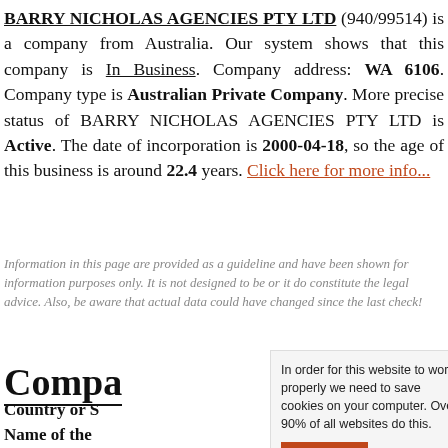BARRY NICHOLAS AGENCIES PTY LTD (940/99514) is a company from Australia. Our system shows that this company is In Business. Company address: WA 6106. Company type is Australian Private Company. More precise status of BARRY NICHOLAS AGENCIES PTY LTD is Active. The date of incorporation is 2000-04-18, so the age of this business is around 22.4 years. Click here for more info...
Information in this page are provided as a guideline and have been shown for information purposes only. It is not designed to be or it do constitute the legal advice. Also, be aware that actual data could have changed since the last check!
Compa
Country or S
Name of the
In order for this website to work properly we need to save cookies on your computer. Over 90% of all websites do this.